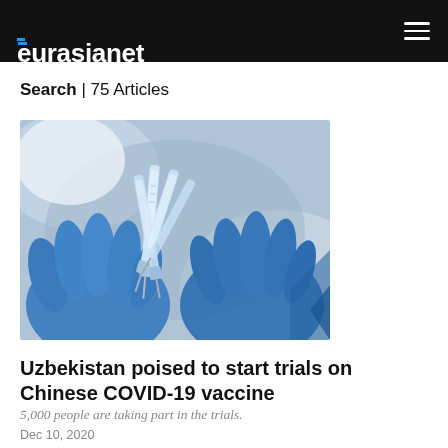eurasianet
Search | 75 Articles
[Figure (photo): Blue-gloved hands holding multiple vaccine vials/syringes against a blurred background]
Uzbekistan poised to start trials on Chinese COVID-19 vaccine
5,000 people are taking part in the trials.
Dec 10, 2020